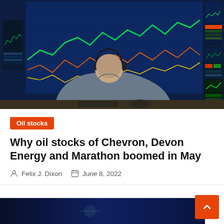[Figure (photo): A stock trader viewed from behind, wearing a headset, sitting at a desk in front of multiple large monitors displaying colorful financial charts and trading data screens.]
Oil stocks
Why oil stocks of Chevron, Devon Energy and Marathon boomed in May
Felix J. Dixon   June 8, 2022
[Figure (photo): Partial view of another image at the bottom of the page, dark blue tones.]